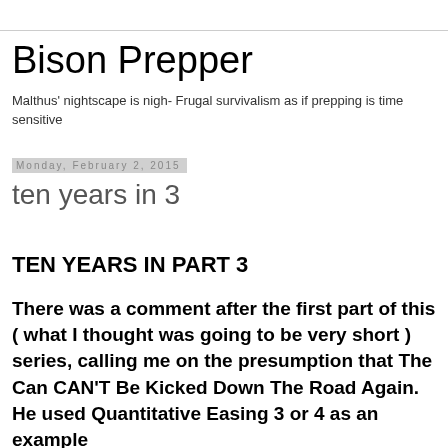Bison Prepper
Malthus' nightscape is nigh- Frugal survivalism as if prepping is time sensitive
Monday, February 2, 2015
ten years in 3
TEN YEARS IN PART 3
There was a comment after the first part of this ( what I thought was going to be very short ) series, calling me on the presumption that The Can CAN'T Be Kicked Down The Road Again.  He used Quantitative Easing 3 or 4 as an example